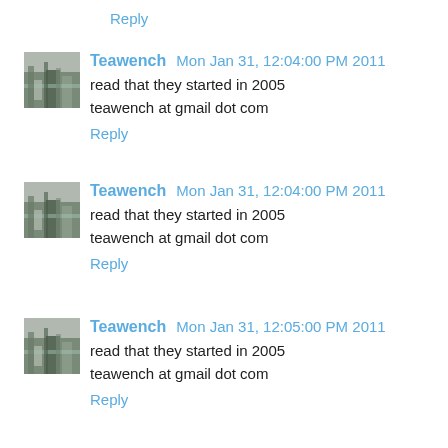Reply
Teawench  Mon Jan 31, 12:04:00 PM 2011
read that they started in 2005
teawench at gmail dot com
Reply
Teawench  Mon Jan 31, 12:04:00 PM 2011
read that they started in 2005
teawench at gmail dot com
Reply
Teawench  Mon Jan 31, 12:05:00 PM 2011
read that they started in 2005
teawench at gmail dot com
Reply